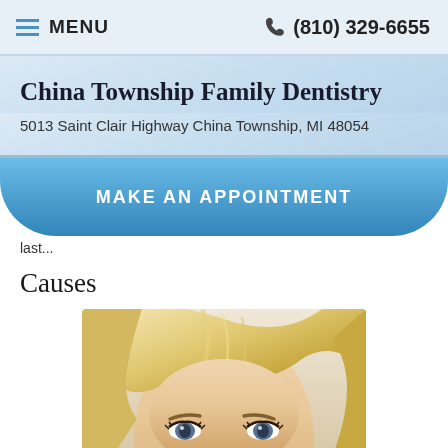MENU   (810) 329-6655
China Township Family Dentistry
5013 Saint Clair Highway China Township, MI 48054
MAKE AN APPOINTMENT
last...
Causes
[Figure (photo): Close-up photo of a blonde woman's face, showing forehead, hair, eyebrows, and eyes]